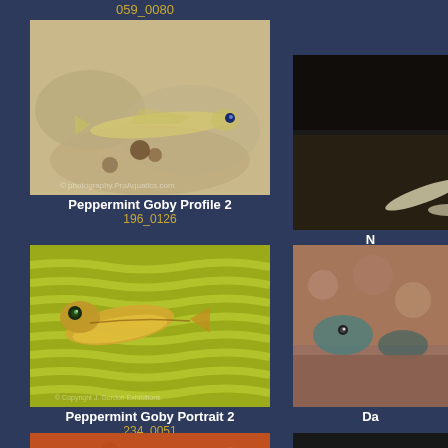059_0080
[Figure (photo): Close-up photo of a Peppermint Goby fish resting on coral - profile view showing translucent yellow-green body with blue eyes]
Peppermint Goby Profile 2
196_0126
[Figure (photo): Partially visible fish photo on right side - dark background]
N (truncated)
[Figure (photo): Close-up portrait photo of a Peppermint Goby fish nestled among yellow-green brain coral ridges]
Peppermint Goby Portrait 2
234_0051
[Figure (photo): Partially visible fish photo on right side - colorful reef scene]
Da (truncated)
[Figure (photo): Partial photo of a dark blue and yellow striped fish on orange coral - bottom of page]
[Figure (photo): Partial photo on right side bottom - dark subject]